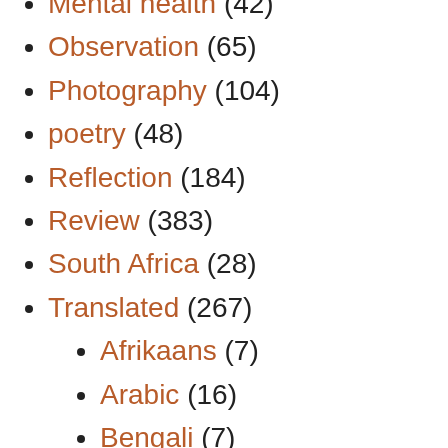Mental health (42)
Observation (65)
Photography (104)
poetry (48)
Reflection (184)
Review (383)
South Africa (28)
Translated (267)
Afrikaans (7)
Arabic (16)
Bengali (7)
Bosnian (2)
Catalan (3)
Chinese (2)
Croatian (11)
Czech (12)